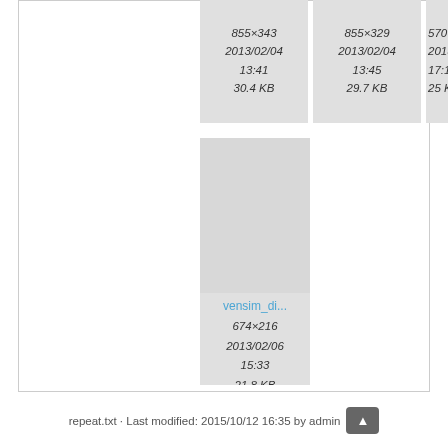[Figure (screenshot): File browser thumbnail card showing image metadata: 855×343, 2013/02/04 13:41, 30.4 KB]
[Figure (screenshot): File browser thumbnail card showing image metadata: 855×329, 2013/02/04 13:45, 29.7 KB]
[Figure (screenshot): File browser thumbnail card partially visible, showing: 570×, 2013/0, 17:1, 25 K]
[Figure (screenshot): File browser thumbnail card for vensim_di... showing: 674×216, 2013/02/06 15:33, 21.8 KB]
repeat.txt · Last modified: 2015/10/12 16:35 by admin